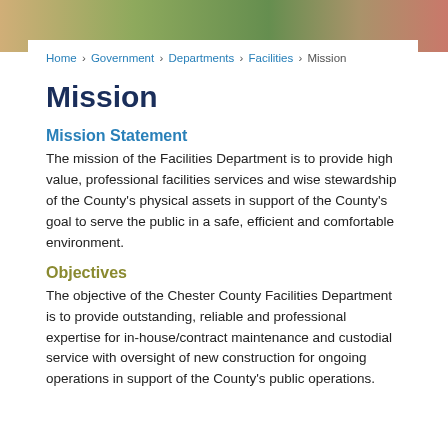Home › Government › Departments › Facilities › Mission
Mission
Mission Statement
The mission of the Facilities Department is to provide high value, professional facilities services and wise stewardship of the County's physical assets in support of the County's goal to serve the public in a safe, efficient and comfortable environment.
Objectives
The objective of the Chester County Facilities Department is to provide outstanding, reliable and professional expertise for in-house/contract maintenance and custodial service with oversight of new construction for ongoing operations in support of the County's public operations.